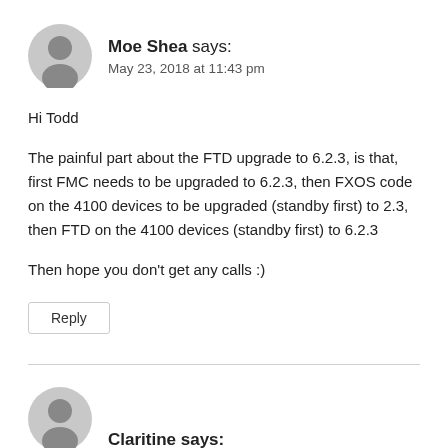Moe Shea says:
May 23, 2018 at 11:43 pm
Hi Todd
The painful part about the FTD upgrade to 6.2.3, is that, first FMC needs to be upgraded to 6.2.3, then FXOS code on the 4100 devices to be upgraded (standby first) to 2.3, then FTD on the 4100 devices (standby first) to 6.2.3
Then hope you don't get any calls :)
Reply
Claritine says: